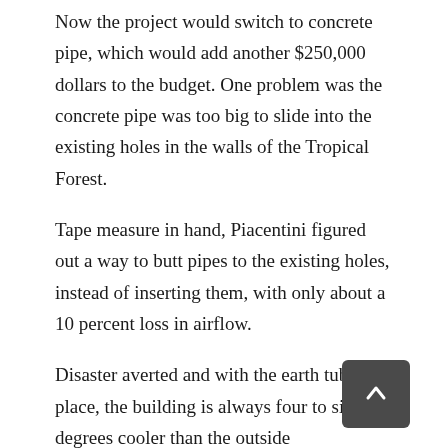Now the project would switch to concrete pipe, which would add another $250,000 dollars to the budget. One problem was the concrete pipe was too big to slide into the existing holes in the walls of the Tropical Forest.
Tape measure in hand, Piacentini figured out a way to butt pipes to the existing holes, instead of inserting them, with only about a 10 percent loss in airflow.
Disaster averted and with the earth tubes in place, the building is always four to six degrees cooler than the outside temperatures.
“They use no electricity,” he says, “and there’s no greenhouse effect. It never gets hotter inside than outside.”